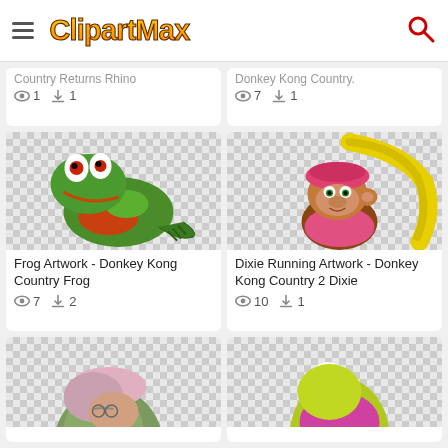ClipartMax
Country Returns Rhino | views: 1, downloads: 1
Donkey Kong Country. | views: 7, downloads: 1
[Figure (photo): 3D rendered green and red frog artwork on checkerboard transparent background]
Frog Artwork - Donkey Kong Country Frog | views: 7, downloads: 2
[Figure (photo): 3D rendered Dixie Kong character with pink beret and flowing blonde hair on checkerboard transparent background]
Dixie Running Artwork - Donkey Kong Country 2 Dixie | views: 10, downloads: 1
[Figure (photo): Partially visible character with grey/green skin, cropped at bottom]
[Figure (photo): Partially visible character with yellow/red beak area, cropped at bottom]